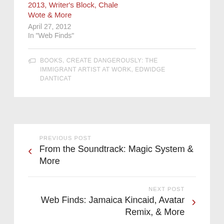2013, Writer's Block, Chale Wote & More
April 27, 2012
In "Web Finds"
BOOKS, CREATE DANGEROUSLY: THE IMMIGRANT ARTIST AT WORK, EDWIDGE DANTICAT
PREVIOUS POST
From the Soundtrack: Magic System & More
NEXT POST
Web Finds: Jamaica Kincaid, Avatar Remix, & More